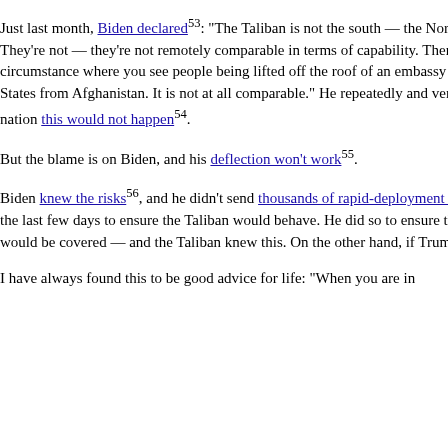abandoned . Just last month, Biden declared⁵³: “The Taliban is not the south — the North Vietnamese army. They’re not — they’re not remotely comparable in terms of capability. There is going to be no circumstance where you see people being lifted off the roof of an embassy in the — of the United States from Afghanistan. It is not at all comparable.” He repeatedly and very publicly assured the nation this would not happen⁵⁴.
But the blame is on Biden, and his deflection won’t work⁵⁵.
Biden knew the risks⁵⁶, and he didn’t send thousands of rapid-deployment troops⁵⁷ into Kabul over the last few days to ensure the Taliban would behave. He did so to ensure the American retreat would be covered — and the Taliban knew this. On the other hand, if Trump were in office…
I have always found this to be good advice for life: “When you are in